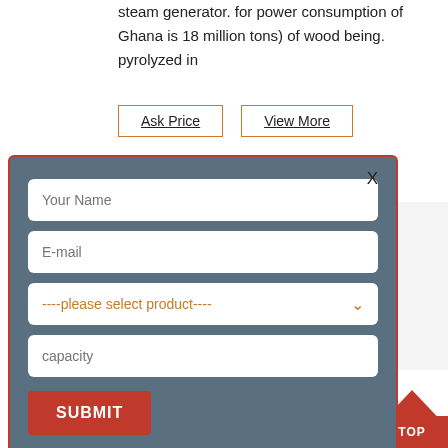steam generator. for power consumption of Ghana is 18 million tons) of wood being. pyrolyzed in
[Figure (screenshot): Two orange-bordered buttons: 'Ask Price' and 'View More']
[Figure (screenshot): A modal dialog with a steel-blue background and red border containing form fields: Your Name (text input), E-mail (text input), a dropdown selector '----please select product----', a capacity text input, and a red SUBMIT button. A close X is in the top-right corner.]
s, approximately 1.6 tonnes of SO2 are avoided. Also, the provide heat or fed into a boiler to generate steam. In the boiler system, the
[Figure (screenshot): Two orange-bordered buttons: 'Ask Price' and 'View More', and a red TOP navigation button in the bottom-right corner.]